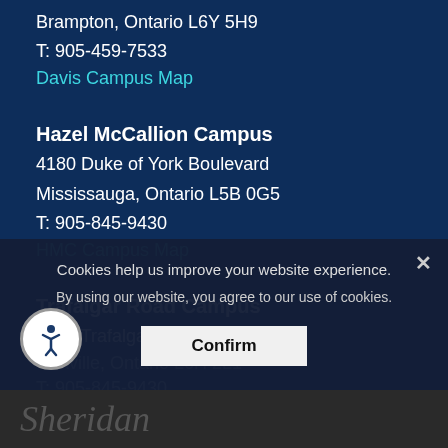Brampton, Ontario L6Y 5H9
T: 905-459-7533
Davis Campus Map
Hazel McCallion Campus
4180 Duke of York Boulevard
Mississauga, Ontario L5B 0G5
T: 905-845-9430
HMC Campus Map
Trafalgar Road Campus
1430 Trafalgar Road
Oakville, Ontario L6H 2L1
T: 905-845-9430
Trafalgar Campus Map
Cookies help us improve your website experience.
By using our website, you agree to our use of cookies.
Confirm
Sheridan